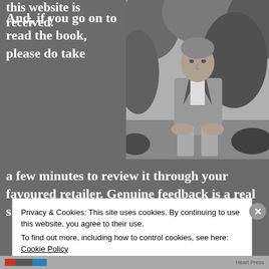this website is received.
[Figure (photo): Black and white photo of a man in a blazer sitting outdoors in front of trees and foliage]
And, if you go on to read the book, please do take a few minutes to review it through your favoured retailer. Genuine feedback is a real shot in the arm to
Privacy & Cookies: This site uses cookies. By continuing to use this website, you agree to their use. To find out more, including how to control cookies, see here: Cookie Policy
Close and accept